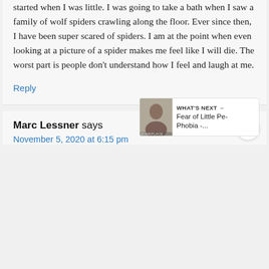started when I was little. I was going to take a bath when I saw a family of wolf spiders crawling along the floor. Ever since then, I have been super scared of spiders. I am at the point when even looking at a picture of a spider makes me feel like I will die. The worst part is people don't understand how I feel and laugh at me.
Reply
Marc Lessner says
November 5, 2020 at 6:15 pm